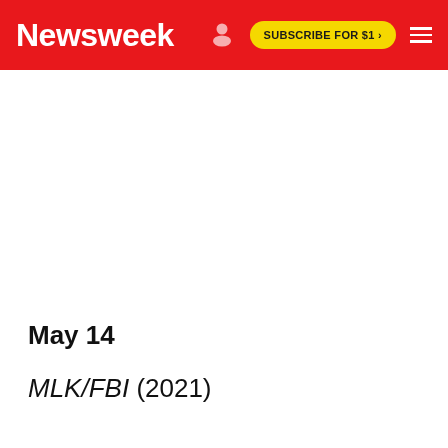Newsweek | SUBSCRIBE FOR $1 >
May 14
MLK/FBI (2021)